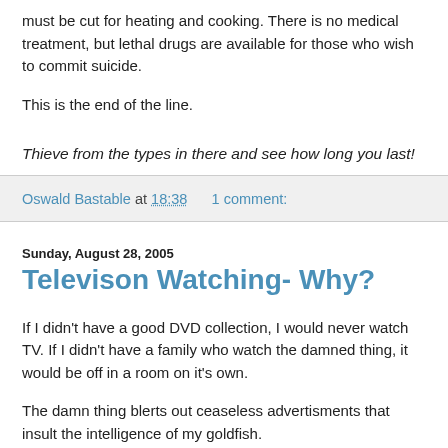must be cut for heating and cooking. There is no medical treatment, but lethal drugs are available for those who wish to commit suicide.
This is the end of the line.
Thieve from the types in there and see how long you last!
Oswald Bastable at 18:38   1 comment:
Sunday, August 28, 2005
Televison Watching- Why?
If I didn't have a good DVD collection, I would never watch TV. If I didn't have a family who watch the damned thing, it would be off in a room on it's own.
The damn thing blerts out ceaseless advertisments that insult the intelligence of my goldfish.